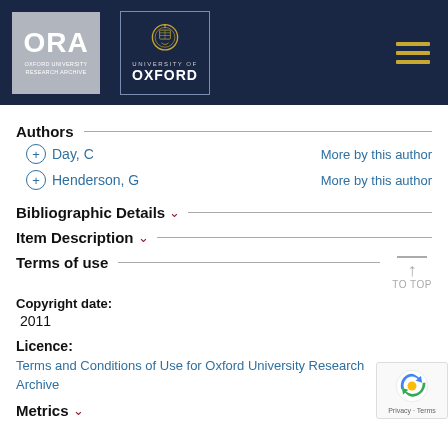ORA Oxford University Research Archive | University of Oxford
Authors
+ Day, C    More by this author
+ Henderson, G    More by this author
Bibliographic Details
Item Description
Terms of use
Copyright date:
2011
Licence:
Terms and Conditions of Use for Oxford University Research Archive
Metrics